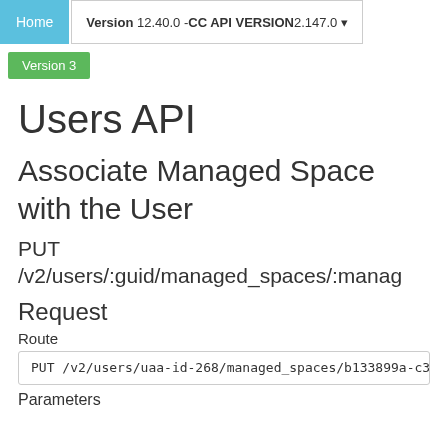Home  Version 12.40.0 - CC API VERSION 2.147.0
Version 3
Users API
Associate Managed Space with the User
PUT /v2/users/:guid/managed_spaces/:managed_space_guid
Request
Route
PUT /v2/users/uaa-id-268/managed_spaces/b133899a-c3e
Parameters